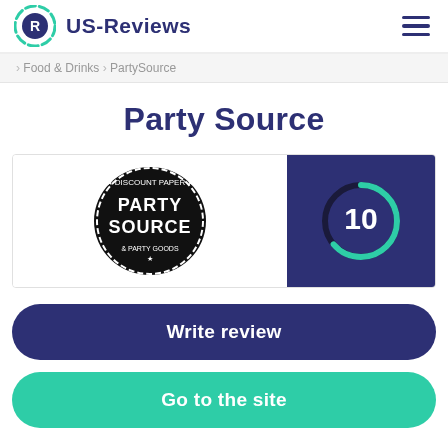US-Reviews
Food & Drinks › PartySource
Party Source
[Figure (logo): Party Source logo and score badge. Left: Party Source circular black logo with text 'Discount Paper, Party Source & Party Goods'. Right: dark navy square with circular teal progress ring and number 10 in white.]
Write review
Go to the site